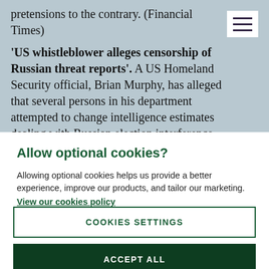pretensions to the contrary. (Financial Times)
'US whistleblower alleges censorship of Russian threat reports'. A US Homeland Security official, Brian Murphy, has alleged that several persons in his department attempted to change intelligence estimates dealing with Russian election interference. Chad Wolf, Secretary of Homeland Security, asked
Allow optional cookies?
Allowing optional cookies helps us provide a better experience, improve our products, and tailor our marketing. View our cookies policy
COOKIES SETTINGS
ACCEPT ALL